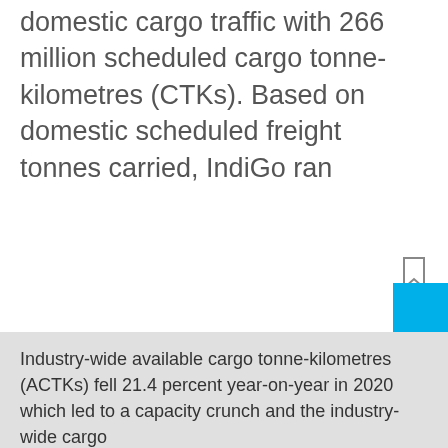domestic cargo traffic with 266 million scheduled cargo tonne-kilometres (CTKs). Based on domestic scheduled freight tonnes carried, IndiGo ran
[Figure (other): Bookmark icon outline in top right area]
[Figure (other): Solid cyan/blue square in bottom right corner]
Industry-wide available cargo tonne-kilometres (ACTKs) fell 21.4 percent year-on-year in 2020 which led to a capacity crunch and the industry-wide cargo